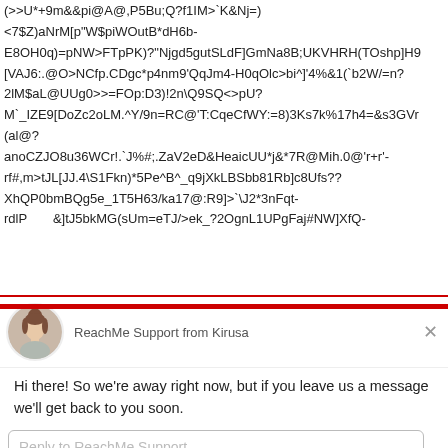(>>U*+9m&&pi@A@,P5Bu;Q?f1IM>`K&Nj=)
<7$Z)aNrM[p"W$piWOutB*dH6b-
E8OH0q)=pNW>FTpPK)?"Njgd5gutSLdF]GmNa8B;UKVHRH(TOshp]H9
[VAJ6:.@O>NCfp.CDgc*p4nm9'QqJm4-H0qOlc>bi^]'4%&1(`b2W/=n?
2lM$aL@UUg0>>=FOp:D3)!2n\Q9SQ<>pU?
M`_IZE9[DoZc2oLM.^Y/9n=RC@'T:CqeCfWY:=8)3Ks7k%17h4=&s3GVr
(al@?
anoCZJO8u36WCr!.`J%#;.ZaV2eD&HeaicUU*j&*7R@Mih.0@'r+r'-
rf#,m>tJL[JJ.4\S1Fkn)*5Pe^B^_q9jXkLBSbb81Rb]c8Ufs??
XhQP0bmBQg5e_1T5H63/ka17@:R9]>`\J2*3nFqt-
rdlP...&]tJ5bkMG(sUm=eTJ/>ek_?2OgnL1UPgFaj#NW]XfQ-
ReachMe Support from Kirusa
Hi there! So we're away right now, but if you leave us a message we'll get back to you soon.
Reply to ReachMe Support
Chat ⚡ by Drift